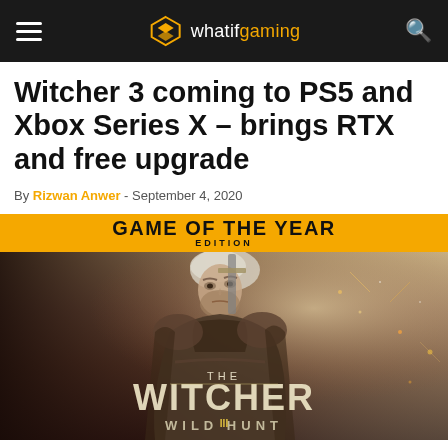whatifgaming
Witcher 3 coming to PS5 and Xbox Series X – brings RTX and free upgrade
By Rizwan Anwer - September 4, 2020
[Figure (photo): The Witcher 3: Wild Hunt Game of the Year Edition cover art showing Geralt with GAME OF THE YEAR EDITION banner]